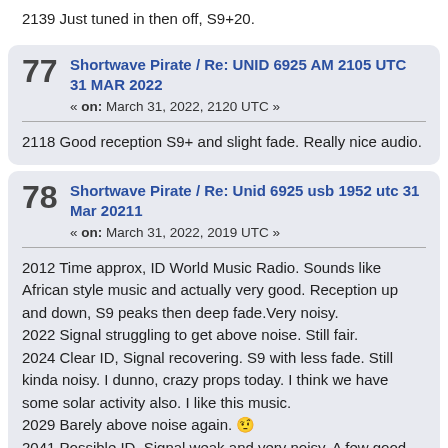2139 Just tuned in then off, S9+20.
77 Shortwave Pirate / Re: UNID 6925 AM 2105 UTC 31 MAR 2022
« on: March 31, 2022, 2120 UTC »
2118 Good reception S9+ and slight fade. Really nice audio.
78 Shortwave Pirate / Re: Unid 6925 usb 1952 utc 31 Mar 20211
« on: March 31, 2022, 2019 UTC »
2012 Time approx, ID World Music Radio. Sounds like African style music and actually very good. Reception up and down, S9 peaks then deep fade.Very noisy.
2022 Signal struggling to get above noise. Still fair.
2024 Clear ID, Signal recovering. S9 with less fade. Still kinda noisy. I dunno, crazy props today. I think we have some solar activity also. I like this music.
2029 Barely above noise again. 😲
2041 Possible ID, Signal weak and very noisy. A few good peaks here and there.